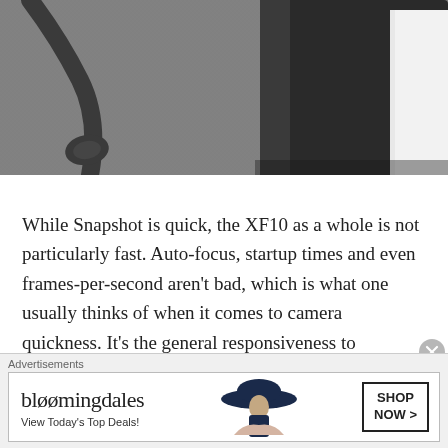[Figure (photo): Black and white photo of a camera with strap on a textured fabric surface, partially cropped]
While Snapshot is quick, the XF10 as a whole is not particularly fast. Auto-focus, startup times and even frames-per-second aren't bad, which is what one usually thinks of when it comes to camera quickness. It's the general responsiveness to adjustments that's noticeably slow. My fingers can fly through the menus and buttons faster than the camera can keep up. The camera can be
Advertisements
[Figure (other): Bloomingdale's advertisement banner with logo, woman in wide-brim hat, and SHOP NOW button]